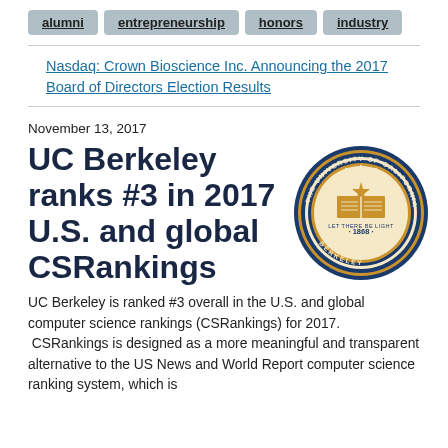alumni
entrepreneurship
honors
industry
Nasdaq: Crown Bioscience Inc. Announcing the 2017 Board of Directors Election Results
November 13, 2017
UC Berkeley ranks #3 in 2017 U.S. and global CSRankings
[Figure (logo): UC Berkeley official seal — circular blue and gold seal with text 'THE UNIVERSITY OF CALIFORNIA BERKELEY' and '1868', featuring an open book and star motif]
UC Berkeley is ranked #3 overall in the U.S. and global computer science rankings (CSRankings) for 2017.  CSRankings is designed as a more meaningful and transparent alternative to the US News and World Report computer science ranking system, which is